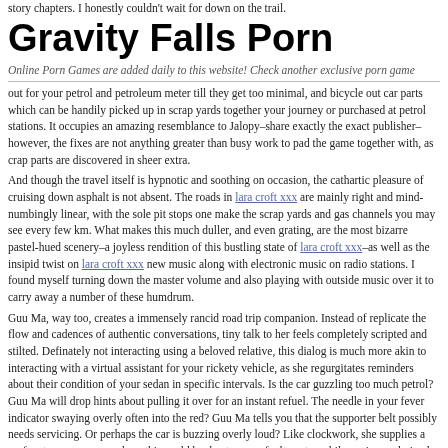story chapters. I honestly couldn't wait for down on the trail.
Gravity Falls Porn
Online Porn Games are added daily to this website! Check another exclusive porn game
out for your petrol and petroleum meter till they get too minimal, and bicycle out car parts which can be handily picked up in scrap yards together your journey or purchased at petrol stations. It occupies an amazing resemblance to Jalopy–share exactly the exact publisher–however, the fixes are not anything greater than busy work to pad the game together with, as crap parts are discovered in sheer extra.
And though the travel itself is hypnotic and soothing on occasion, the cathartic pleasure of cruising down asphalt is not absent. The roads in lara croft xxx are mainly right and mind-numbingly linear, with the sole pit stops one make the scrap yards and gas channels you may see every few km. What makes this much duller, and even grating, are the most bizarre pastel-hued scenery–a joyless rendition of this bustling state of lara croft xxx–as well as the insipid twist on lara croft xxx new music along with electronic music on radio stations. I found myself turning down the master volume and also playing with outside music over it to carry away a number of these humdrum.
Guu Ma, way too, creates a immensely rancid road trip companion. Instead of replicate the flow and cadences of authentic conversations, tiny talk to her feels completely scripted and stilted. Definately not interacting using a beloved relative, this dialog is much more akin to interacting with a virtual assistant for your rickety vehicle, as she regurgitates reminders about their condition of your sedan in specific intervals. Is the car guzzling too much petrol? Guu Ma will drop hints about pulling it over for an instant refuel. The needle in your fever indicator swaying overly often into the red? Guu Ma tells you that the supporter belt possibly needs servicing. Or perhaps the car is buzzing overly loud? Like clockwork, she supplies a perfunctory response on how this could be due to some faulty automobile engine or drained tire. While a veritable fountain of vehicular expertise, Guu Ma is unfortunately not elsewhere. She dishes out banal anecdotes about the household, however, they add some shades of familiarity to your own relationship together with her